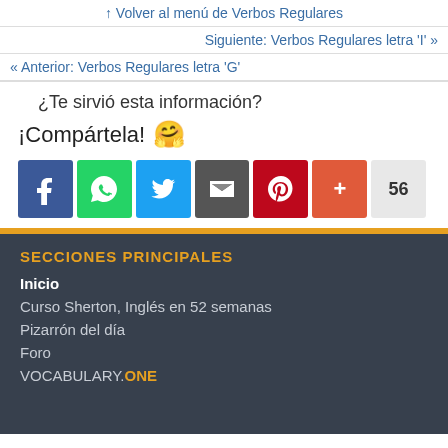↑ Volver al menú de Verbos Regulares
Siguiente: Verbos Regulares letra 'I' »
« Anterior: Verbos Regulares letra 'G'
¿Te sirvió esta información?
¡Compártela! 😊
[Figure (other): Social sharing buttons: Facebook, WhatsApp, Twitter, Email, Pinterest, Plus, and share count 56]
SECCIONES PRINCIPALES
Inicio
Curso Sherton, Inglés en 52 semanas
Pizarrón del día
Foro
VOCABULARY.ONE